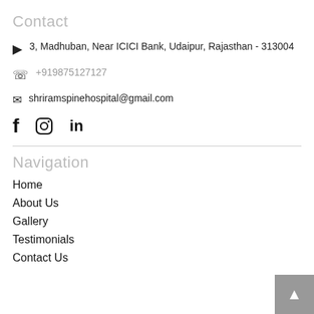Contact
3, Madhuban, Near ICICI Bank, Udaipur, Rajasthan - 313004
+919875127127
shriramspinehospital@gmail.com
[Figure (other): Social media icons: Facebook, Instagram, LinkedIn]
Navigation
Home
About Us
Gallery
Testimonials
Contact Us